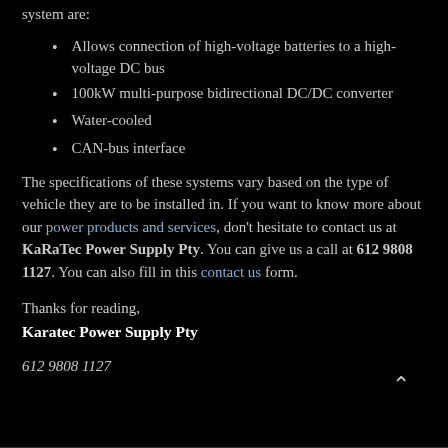system are:
Allows connection of high-voltage batteries to a high-voltage DC bus
100kW multi-purpose bidirectional DC/DC converter
Water-cooled
CAN-bus interface
The specifications of these systems vary based on the type of vehicle they are to be installed in. If you want to know more about our power products and services, don't hesitate to contact us at KaRaTec Power Supply Pty. You can give us a call at 612 9808 1127. You can also fill in this contact us form.
Thanks for reading,
Karatec Power Supply Pty
612 9808 1127